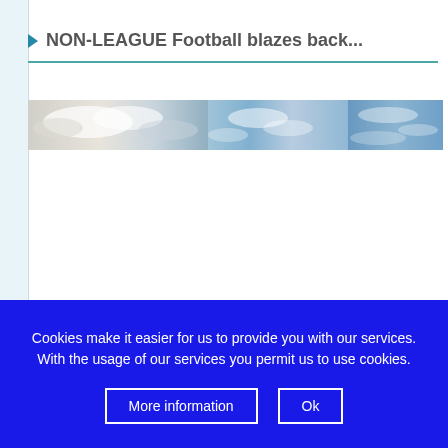NON-LEAGUE Football blazes back...
[Figure (photo): Horizontal banner image showing sky with clouds, a mix of white cloudy portions on the left and bright blue sky on the right.]
Cookies make it easier for us to provide you with our services. With the usage of our services you permit us to use cookies.
More information  Ok